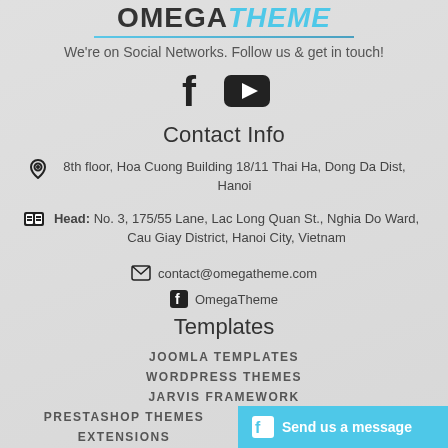[Figure (logo): OmegaTheme logo with OMEGA in dark bold and THEME in cyan italic, with a cyan underline]
We're on Social Networks. Follow us & get in touch!
[Figure (infographic): Facebook and YouTube social icons]
Contact Info
8th floor, Hoa Cuong Building 18/11 Thai Ha, Dong Da Dist, Hanoi
Head: No. 3, 175/55 Lane, Lac Long Quan St., Nghia Do Ward, Cau Giay District, Hanoi City, Vietnam
contact@omegatheme.com
OmegaTheme
Templates
JOOMLA TEMPLATES
WORDPRESS THEMES
JARVIS FRAMEWORK
PRESTASHOP THEMES
EXTENSIONS
Send us a message